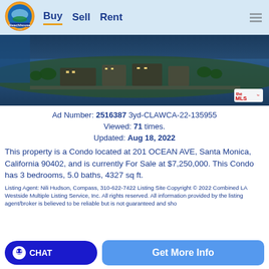Beachhouse.com — Buy  Sell  Rent
[Figure (photo): Aerial photo of beachfront property at 201 Ocean Ave, Santa Monica, California, with MLS logo badge in lower right]
Ad Number: 2516387  3yd-CLAWCA-22-135955
Viewed: 71 times.
Updated: Aug 18, 2022
This property is a Condo located at 201 OCEAN AVE, Santa Monica, California 90402, and is currently For Sale at $7,250,000. This Condo has 3 bedrooms, 5.0 baths, 4327 sq ft.
Listing Agent: Nili Hudson, Compass, 310-622-7422 Listing Site Copyright © 2022 Combined LA Westside Multiple Listing Service, Inc. All rights reserved. All information provided by the listing agent/broker is believed to be reliable but is not guaranteed and should be independently verified.